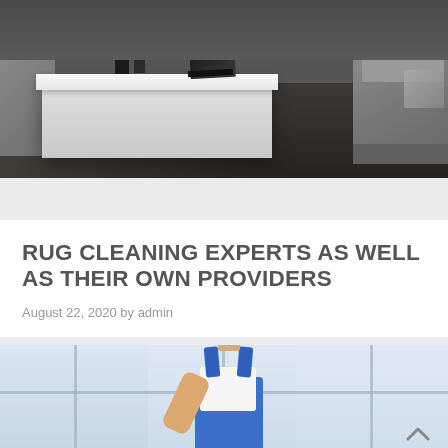[Figure (photo): A modern living room with a large white low-profile coffee table, dark floor, gray sofas, and small decorative items and a book on the table.]
RUG CLEANING EXPERTS AS WELL AS THEIR OWN PROVIDERS
August 22, 2020 by admin
[Figure (photo): A man wearing a blue cap and blue overalls cleaning near large windows in a bright room.]